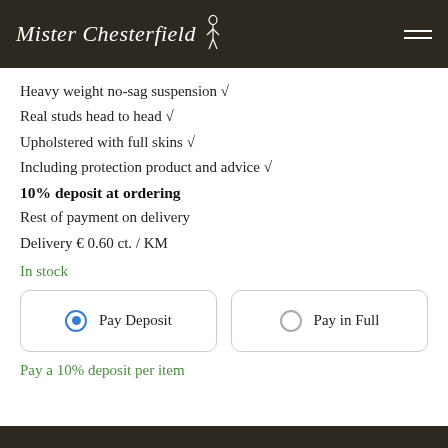Mister Chesterfield
Heavy weight no-sag suspension √
Real studs head to head √
Upholstered with full skins √
Including protection product and advice √
10% deposit at ordering
Rest of payment on delivery
Delivery € 0.60 ct. / KM
In stock
Pay Deposit
Pay in Full
Pay a 10% deposit per item